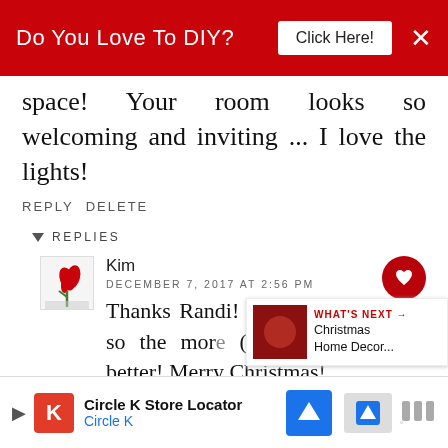Do You Love To DIY? Click Here!
space! Your room looks so welcoming and inviting ... I love the lights!
REPLY DELETE
REPLIES
Kim
DECEMBER 7, 2017 AT 2:56 PM
Thanks Randi! It's a small cottage, so the more (and the less stuff, better! Merry Christmas!